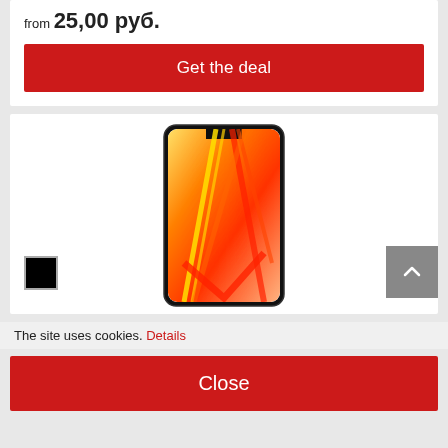from 25,00 руб.
Get the deal
[Figure (photo): Smartphone with orange and red gradient wallpaper displayed on screen, shown in slightly angled perspective view. A black color swatch thumbnail is shown in the lower left corner of the product card.]
The site uses cookies. Details
Close